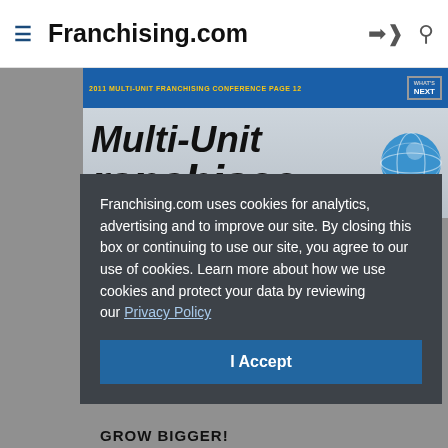Franchising.com
[Figure (screenshot): Magazine cover for Multi-Unit Franchisee magazine showing blue header bar, bold italic Multi-Unit Franchisee title, globe graphic, and gray lower section with GROW BIGGER text]
Franchising.com uses cookies for analytics, advertising and to improve our site. By closing this box or continuing to use our site, you agree to our use of cookies. Learn more about how we use cookies and protect your data by reviewing our Privacy Policy
I Accept